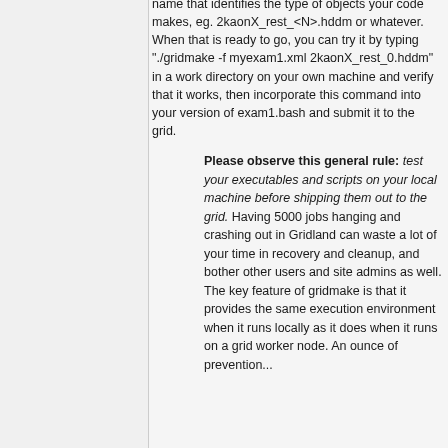name that identifies the type of objects your code makes, eg. 2kaonX_rest_<N>.hddm or whatever. When that is ready to go, you can try it by typing "./gridmake -f myexam1.xml 2kaonX_rest_0.hddm" in a work directory on your own machine and verify that it works, then incorporate this command into your version of exam1.bash and submit it to the grid.
Please observe this general rule: test your executables and scripts on your local machine before shipping them out to the grid. Having 5000 jobs hanging and crashing out in Gridland can waste a lot of your time in recovery and cleanup, and bother other users and site admins as well. The key feature of gridmake is that it provides the same execution environment when it runs locally as it does when it runs on a grid worker node. An ounce of prevention...